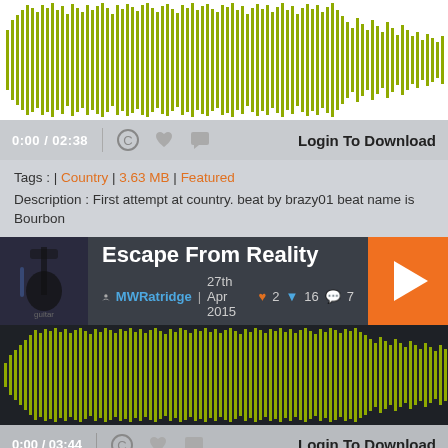[Figure (other): Audio waveform in yellow-green color on white background]
0:00 / 02:38  Login To Download
Tags : | Country | 3.63 MB | Featured
Description : First attempt at country. beat by brazy01 beat name is Bourbon
Escape From Reality
MWRatridge  27th Apr 2015  2  16  7
[Figure (other): Audio waveform in yellow-green color on dark background]
0:00 / 03:44  Login To Download
Tags : | Country | 8.55 MB | Has Lyrics